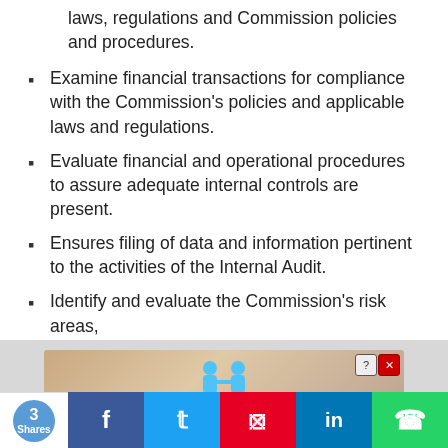laws, regulations and Commission policies and procedures.
Examine financial transactions for compliance with the Commission's policies and applicable laws and regulations.
Evaluate financial and operational procedures to assure adequate internal controls are present.
Ensures filing of data and information pertinent to the activities of the Internal Audit.
Identify and evaluate the Commission's risk areas,
[Figure (screenshot): Advertisement banner showing 'Hold and Move' with cartoon figures and a close button]
[Figure (infographic): Social share bar with share count (3 Shares) and buttons for Facebook, Twitter, Pinterest, LinkedIn, WhatsApp]